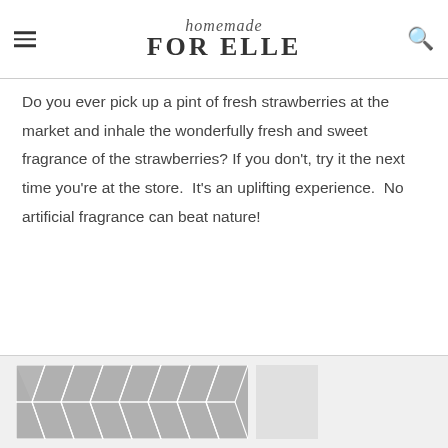homemade FOR ELLE
Do you ever pick up a pint of fresh strawberries at the market and inhale the wonderfully fresh and sweet fragrance of the strawberries? If you don't, try it the next time you're at the store.  It's an uplifting experience.  No artificial fragrance can beat nature!
[Figure (other): Decorative geometric chevron/hexagon pattern in grey used as footer advertisement banner]